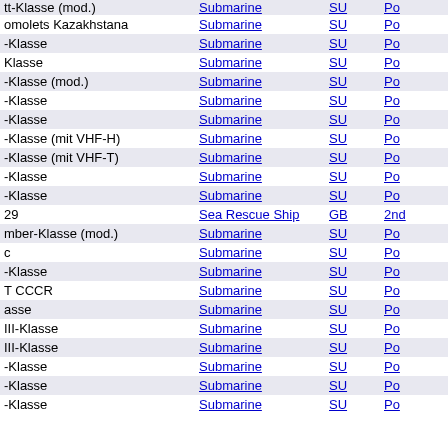| Name | Type | Country | ... |
| --- | --- | --- | --- |
| tt-Klasse (mod.) | Submarine | SU | Po... |
| omolets Kazakhstana | Submarine | SU | Po... |
| -Klasse | Submarine | SU | Po... |
| Klasse | Submarine | SU | Po... |
| -Klasse (mod.) | Submarine | SU | Po... |
| -Klasse | Submarine | SU | Po... |
| -Klasse | Submarine | SU | Po... |
| -Klasse (mit VHF-H) | Submarine | SU | Po... |
| -Klasse (mit VHF-T) | Submarine | SU | Po... |
| -Klasse | Submarine | SU | Po... |
| -Klasse | Submarine | SU | Po... |
| 29 | Sea Rescue Ship | GB | 2nd... |
| mber-Klasse (mod.) | Submarine | SU | Po... |
| c | Submarine | SU | Po... |
| -Klasse | Submarine | SU | Po... |
| T CCCR | Submarine | SU | Po... |
| asse | Submarine | SU | Po... |
| III-Klasse | Submarine | SU | Po... |
| III-Klasse | Submarine | SU | Po... |
| -Klasse | Submarine | SU | Po... |
| -Klasse | Submarine | SU | Po... |
| -Klasse | Submarine | SU | Po... |